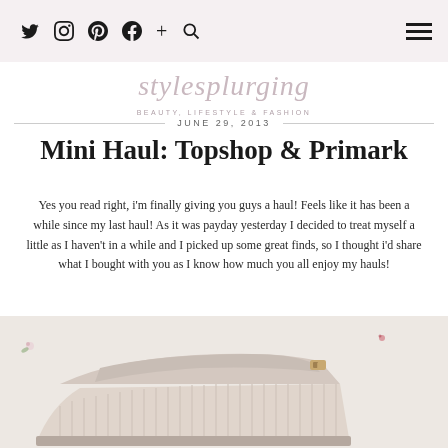stylesplurging — social icons navigation bar
stylesplurging
BEAUTY, LIFESTYLE & FASHION
JUNE 29, 2013
Mini Haul: Topshop & Primark
Yes you read right, i'm finally giving you guys a haul! Feels like it has been a while since my last haul! As it was payday yesterday I decided to treat myself a little as I haven't in a while and I picked up some great finds, so I thought i'd share what I bought with you as I know how much you all enjoy my hauls!
[Figure (photo): Close-up photo of beige/nude wedge sandals with striped platform and buckle strap, laid on a floral fabric background]